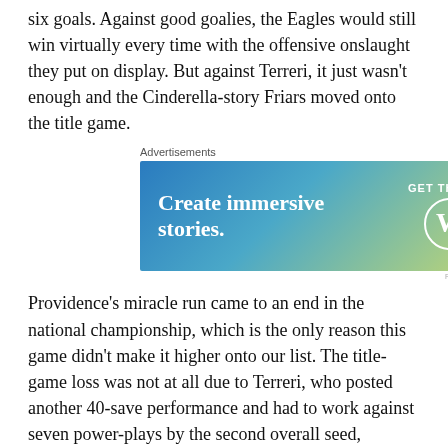six goals. Against good goalies, the Eagles would still win virtually every time with the offensive onslaught they put on display. But against Terreri, it just wasn't enough and the Cinderella-story Friars moved onto the title game.
[Figure (other): Advertisement banner for WordPress: 'Create immersive stories. GET THE APP' with WordPress logo]
Providence's miracle run came to an end in the national championship, which is the only reason this game didn't make it higher onto our list. The title-game loss was not at all due to Terreri, who posted another 40-save performance and had to work against seven power-plays by the second overall seed, Rensselaer. Rennsselaer got goals early in the first and second period, but they were denied on their final twenty efforts on goal, as Providence attempted to engineer a